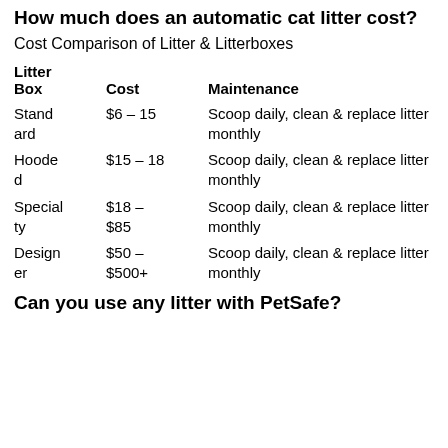How much does an automatic cat litter cost?
Cost Comparison of Litter & Litterboxes
| Litter Box | Cost | Maintenance |
| --- | --- | --- |
| Standard | $6 – 15 | Scoop daily, clean & replace litter monthly |
| Hooded | $15 – 18 | Scoop daily, clean & replace litter monthly |
| Specialty | $18 – $85 | Scoop daily, clean & replace litter monthly |
| Designer | $50 – $500+ | Scoop daily, clean & replace litter monthly |
Can you use any litter with PetSafe?